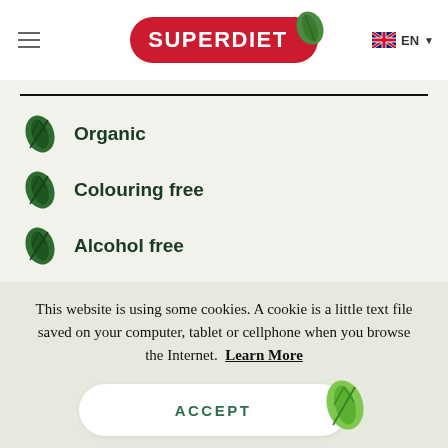[Figure (logo): SUPERDIET logo: red pill-shaped badge with white bold text and a green leaf on the right side]
Organic
Colouring free
Alcohol free
This website is using some cookies. A cookie is a little text file saved on your computer, tablet or cellphone when you browse the Internet. Learn More
ACCEPT
REFUSE